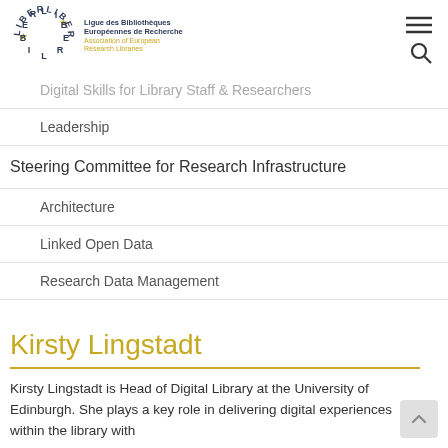[Figure (logo): LIBER (Ligue des Bibliothèques Européennes de Recherche / Association of European Research Libraries) logo with circular text and stars]
Digital Skills for Library Staff & Researchers (faded/partially visible)
Leadership
Steering Committee for Research Infrastructure
Architecture
Linked Open Data
Research Data Management
Kirsty Lingstadt
Kirsty Lingstadt is Head of Digital Library at the University of Edinburgh. She plays a key role in delivering digital experiences within the library with...